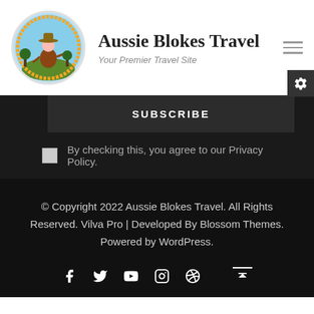[Figure (logo): Aussie Blokes Travel circular logo with illustrated character wearing hat in outdoor travel scene]
Aussie Blokes Travel
Your Premier Travel Site
SUBSCRIBE
By checking this, you agree to our Privacy Policy.
© Copyright 2022 Aussie Blokes Travel. All Rights Reserved. Vilva Pro | Developed By Blossom Themes. Powered by WordPress.